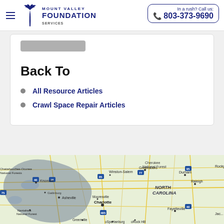Mount Valley Foundation | In a rush? Call us: 803-373-9690
Back To
All Resource Articles
Crawl Space Repair Articles
[Figure (map): Google Maps view showing the service area spanning parts of North Carolina, South Carolina, Tennessee, and Georgia including cities such as Charlotte, Greensboro, Winston-Salem, Raleigh, Durham, Asheville, Knoxville, Greenville, Spartanburg, and Fayetteville.]